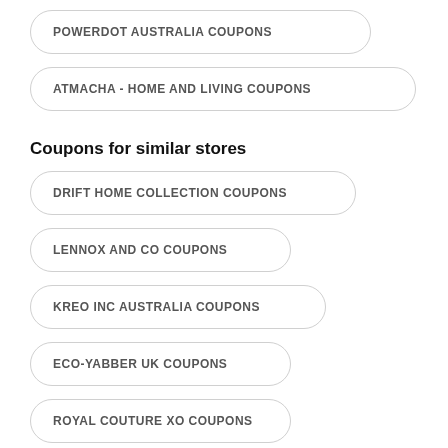POWERDOT AUSTRALIA COUPONS
ATMACHA - HOME AND LIVING COUPONS
Coupons for similar stores
DRIFT HOME COLLECTION COUPONS
LENNOX AND CO COUPONS
KREO INC AUSTRALIA COUPONS
ECO-YABBER UK COUPONS
ROYAL COUTURE XO COUPONS